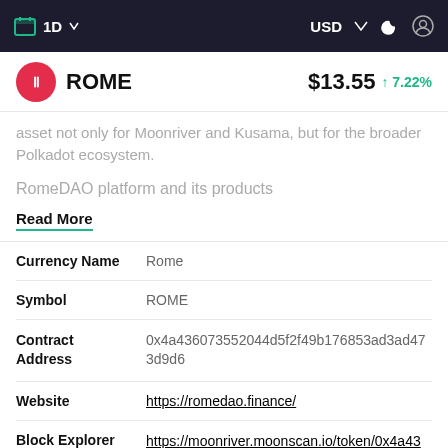1D  USD
ROME  $13.55  ↑7.22%
asset not only for Moonriver and Kusama, but for the broader Polkadot ecosystem.
RomeDAO platform and its products
Read More
| Field | Value |
| --- | --- |
| Currency Name | Rome |
| Symbol | ROME |
| Contract Address | 0x4a436073552044d5f2f49b176853ad3ad473d9d6 |
| Website | https://romedao.finance/ |
| Block Explorer | https://moonriver.moonscan.io/token/0x4a436073552044d5f2f49b176853ad3ad473d9d6 |